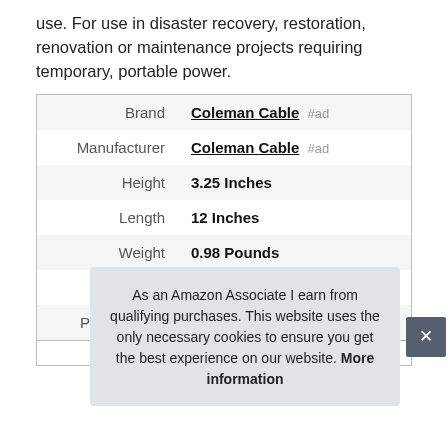use. For use in disaster recovery, restoration, renovation or maintenance projects requiring temporary, portable power.
| Brand | Coleman Cable #ad |
| Manufacturer | Coleman Cable #ad |
| Height | 3.25 Inches |
| Length | 12 Inches |
| Weight | 0.98 Pounds |
| Width | 1 Inches |
| Part Number | 090848802 |
As an Amazon Associate I earn from qualifying purchases. This website uses the only necessary cookies to ensure you get the best experience on our website. More information